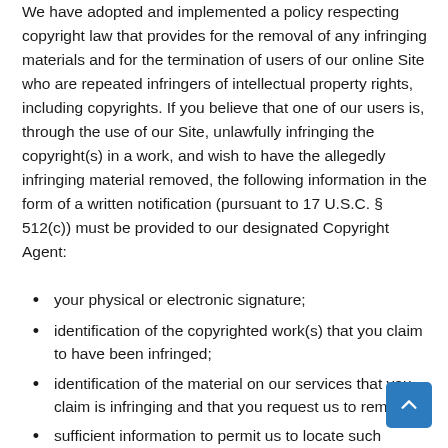We have adopted and implemented a policy respecting copyright law that provides for the removal of any infringing materials and for the termination of users of our online Site who are repeated infringers of intellectual property rights, including copyrights. If you believe that one of our users is, through the use of our Site, unlawfully infringing the copyright(s) in a work, and wish to have the allegedly infringing material removed, the following information in the form of a written notification (pursuant to 17 U.S.C. § 512(c)) must be provided to our designated Copyright Agent:
your physical or electronic signature;
identification of the copyrighted work(s) that you claim to have been infringed;
identification of the material on our services that you claim is infringing and that you request us to remove;
sufficient information to permit us to locate such material;
your address, telephone number, and e-mail address;